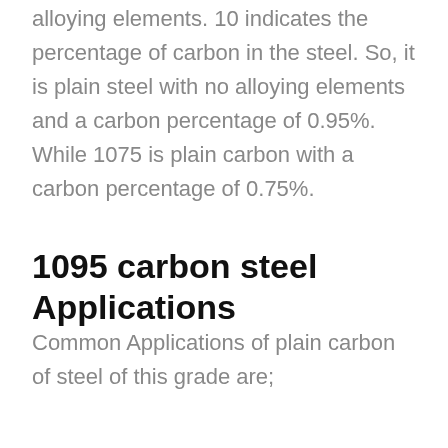alloying elements. 10 indicates the percentage of carbon in the steel. So, it is plain steel with no alloying elements and a carbon percentage of 0.95%. While 1075 is plain carbon with a carbon percentage of 0.75%.
1095 carbon steel Applications
Common Applications of plain carbon of steel of this grade are;